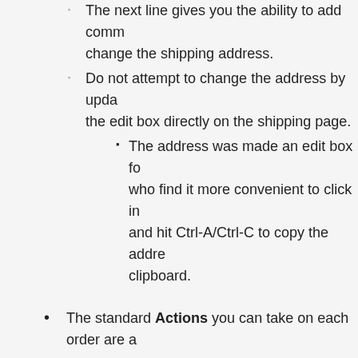The next line gives you the ability to add comments, change the shipping address.
Do not attempt to change the address by updating the edit box directly on the shipping page.
The address was made an edit box for users who find it more convenient to click in and hit Ctrl-A/Ctrl-C to copy the address to clipboard.
The standard Actions you can take on each order are a
No Action - will leave the order on the page after changes
Ship with email - will remove the order from your view; update the order status to Processed on AOB; to the originating venue, if automated confirma